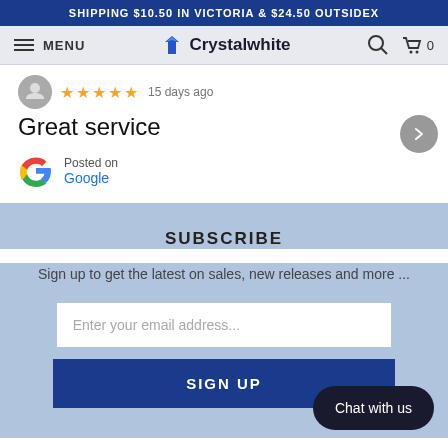SHIPPING $10.50 IN VICTORIA & $24.50 OUTSIDEX
[Figure (screenshot): Navigation bar with hamburger menu, MENU label, Crystalwhite logo with diamond icon, search icon, and cart icon with 0]
15 days ago
Great service
Posted on Google
SUBSCRIBE
Sign up to get the latest on sales, new releases and more ...
Enter your email address...
SIGN UP
Chat with us